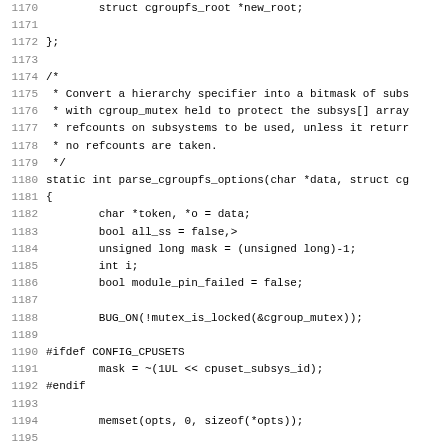Source code listing lines 1170-1202 showing parse_cgroupfs_options function in C